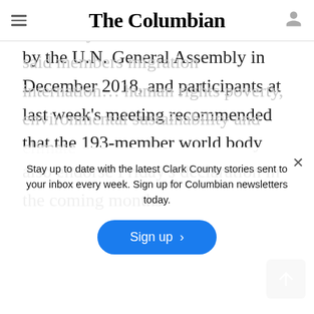The Columbian
by the U.N. General Assembly in December 2018, and participants at last week's meeting recommended that the 193-member world body also endorse Friday's declaration in the coming months.
Stay up to date with the latest Clark County stories sent to your inbox every week. Sign up for Columbian newsletters today.